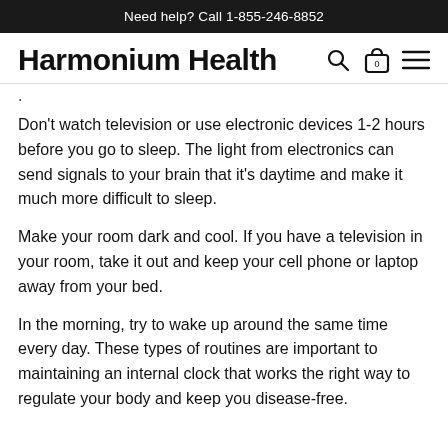Need help? Call 1-855-246-8852
Harmonium Health
.
Don't watch television or use electronic devices 1-2 hours before you go to sleep. The light from electronics can send signals to your brain that it's daytime and make it much more difficult to sleep.
Make your room dark and cool. If you have a television in your room, take it out and keep your cell phone or laptop away from your bed.
In the morning, try to wake up around the same time every day. These types of routines are important to maintaining an internal clock that works the right way to regulate your body and keep you disease-free.